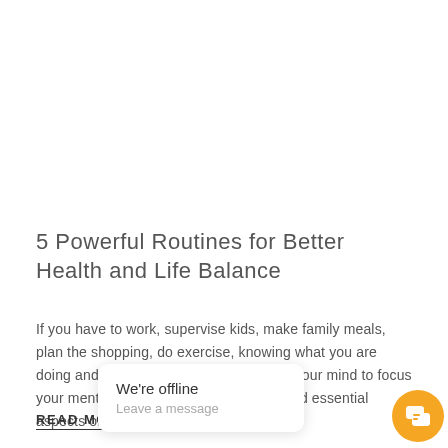5 Powerful Routines for Better Health and Life Balance
If you have to work, supervise kids, make family meals, plan the shopping, do exercise, knowing what you are doing and when, means you can free up your mind to focus your mental energies on real, creative, and essential aspects of your life.
READ MORE
[Figure (screenshot): Chat widget overlay showing 'We're offline' and 'Leave a message' text with an orange chat icon button]